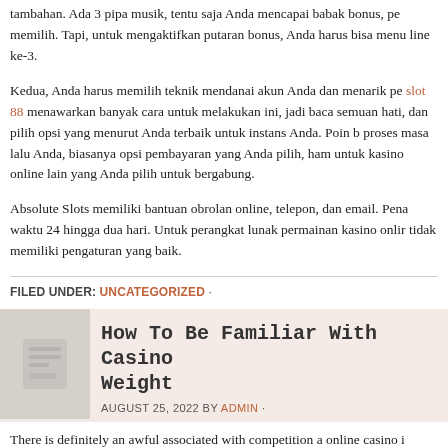tambahan. Ada 3 pipa musik, tentu saja Anda mencapai babak bonus, pe memilih. Tapi, untuk mengaktifkan putaran bonus, Anda harus bisa menu line ke-3.
Kedua, Anda harus memilih teknik mendanai akun Anda dan menarik pe slot 88 menawarkan banyak cara untuk melakukan ini, jadi baca semuan hati, dan pilih opsi yang menurut Anda terbaik untuk instans Anda. Poin b proses masa lalu Anda, biasanya opsi pembayaran yang Anda pilih, ham untuk kasino online lain yang Anda pilih untuk bergabung.
Absolute Slots memiliki bantuan obrolan online, telepon, dan email. Pena waktu 24 hingga dua hari. Untuk perangkat lunak permainan kasino onlir tidak memiliki pengaturan yang baik.
FILED UNDER: UNCATEGORIZED ·
How To Be Familiar With Casino Weight
AUGUST 25, 2022 BY ADMIN ·
There is definitely an awful associated with competition a online casino i